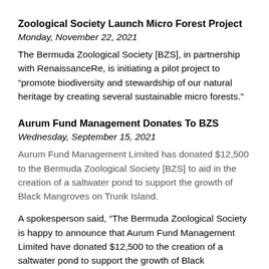Zoological Society Launch Micro Forest Project
Monday, November 22, 2021
The Bermuda Zoological Society [BZS], in partnership with RenaissanceRe, is initiating a pilot project to “promote biodiversity and stewardship of our natural heritage by creating several sustainable micro forests.”
Aurum Fund Management Donates To BZS
Wednesday, September 15, 2021
Aurum Fund Management Limited has donated $12,500 to the Bermuda Zoological Society [BZS] to aid in the creation of a saltwater pond to support the growth of Black Mangroves on Trunk Island.
A spokesperson said, “The Bermuda Zoological Society is happy to announce that Aurum Fund Management Limited have donated $12,500 to the creation of a saltwater pond to support the growth of Black Mangroves on Trunk Island